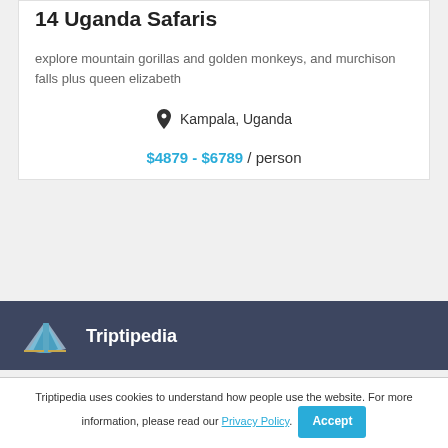14 Uganda Safaris
explore mountain gorillas and golden monkeys, and murchison falls plus queen elizabeth
Kampala, Uganda
$4879 - $6789 / person
Triptipedia
Triptipedia uses cookies to understand how people use the website. For more information, please read our Privacy Policy. Accept